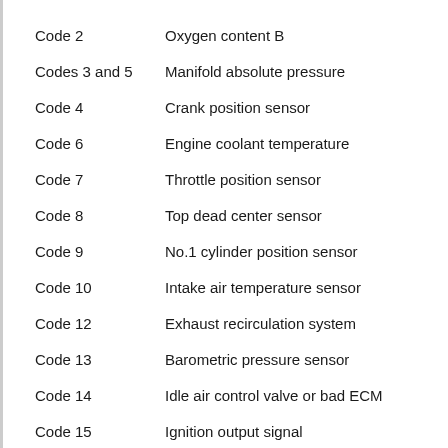Code 2 — Oxygen content B
Codes 3 and 5 — Manifold absolute pressure
Code 4 — Crank position sensor
Code 6 — Engine coolant temperature
Code 7 — Throttle position sensor
Code 8 — Top dead center sensor
Code 9 — No.1 cylinder position sensor
Code 10 — Intake air temperature sensor
Code 12 — Exhaust recirculation system
Code 13 — Barometric pressure sensor
Code 14 — Idle air control valve or bad ECM
Code 15 — Ignition output signal
Code 16 — Fuel Injector